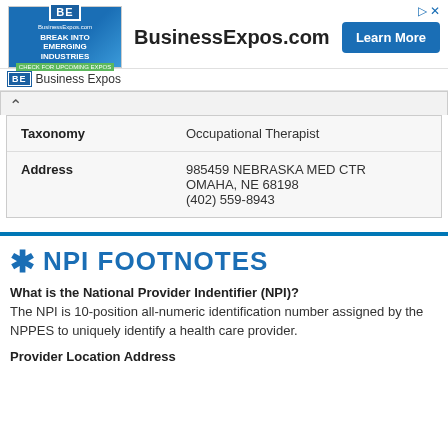[Figure (other): BusinessExpos.com advertisement banner with blue image on left, bold site name in center, and Learn More button on right]
BE Business Expos
| Field | Value |
| --- | --- |
| Taxonomy | Occupational Therapist |
| Address | 985459 NEBRASKA MED CTR
OMAHA, NE 68198
(402) 559-8943 |
NPI FOOTNOTES
What is the National Provider Indentifier (NPI)?
The NPI is 10-position all-numeric identification number assigned by the NPPES to uniquely identify a health care provider.
Provider Location Address